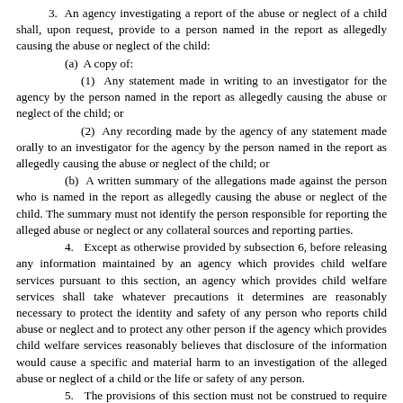3. An agency investigating a report of the abuse or neglect of a child shall, upon request, provide to a person named in the report as allegedly causing the abuse or neglect of the child:
(a) A copy of:
(1) Any statement made in writing to an investigator for the agency by the person named in the report as allegedly causing the abuse or neglect of the child; or
(2) Any recording made by the agency of any statement made orally to an investigator for the agency by the person named in the report as allegedly causing the abuse or neglect of the child; or
(b) A written summary of the allegations made against the person who is named in the report as allegedly causing the abuse or neglect of the child. The summary must not identify the person responsible for reporting the alleged abuse or neglect or any collateral sources and reporting parties.
4. Except as otherwise provided by subsection 6, before releasing any information maintained by an agency which provides child welfare services pursuant to this section, an agency which provides child welfare services shall take whatever precautions it determines are reasonably necessary to protect the identity and safety of any person who reports child abuse or neglect and to protect any other person if the agency which provides child welfare services reasonably believes that disclosure of the information would cause a specific and material harm to an investigation of the alleged abuse or neglect of a child or the life or safety of any person.
5. The provisions of this section must not be construed to require an agency which provides child welfare services to disclose information maintained by the agency which provides child welfare services if, after consultation with the attorney who represents the agency, the agency determines that such disclosure would cause a specific and material harm to a criminal investigation.
6. A person who is the subject of a report of child abuse or neglect made pursuant to this chapter that is assigned a disposition other than substantiated pursuant to NRS 432B.305 and who believes that the report was made in bad faith or with malicious intent may petition a district court to order the agency which provides child welfare services to release information maintained by the agency which provides child welfare services. The petition must specifically set